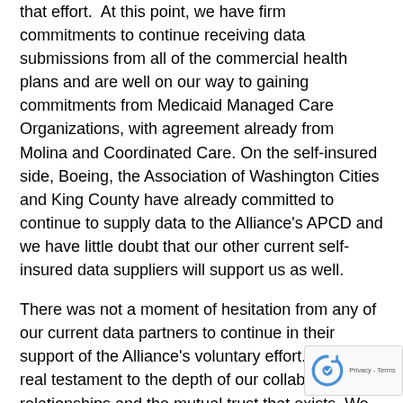that effort.  At this point, we have firm commitments to continue receiving data submissions from all of the commercial health plans and are well on our way to gaining commitments from Medicaid Managed Care Organizations, with agreement already from Molina and Coordinated Care. On the self-insured side, Boeing, the Association of Washington Cities and King County have already committed to continue to supply data to the Alliance's APCD and we have little doubt that our other current self-insured data suppliers will support us as well.
There was not a moment of hesitation from any of our current data partners to continue in their support of the Alliance's voluntary effort. This is a real testament to the depth of our collaborative relationships and the mutual trust that exists. We plan to build upon this trust and to bring in new data suppliers to build this community resource that has data from 2004 on more than four million Washingtonians.
Building upon this strong foundation, we will be expanding the analyses that we produce. We plan to focus more attention on overuse and resource utilization. For example, we have had